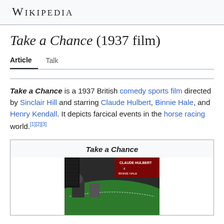Wikipedia
Take a Chance (1937 film)
Article   Talk
Take a Chance is a 1937 British comedy sports film directed by Sinclair Hill and starring Claude Hulbert, Binnie Hale, and Henry Kendall. It depicts farcical events in the horse racing world.[1][2][3]
| Take a Chance |
| --- |
| [film poster image] |